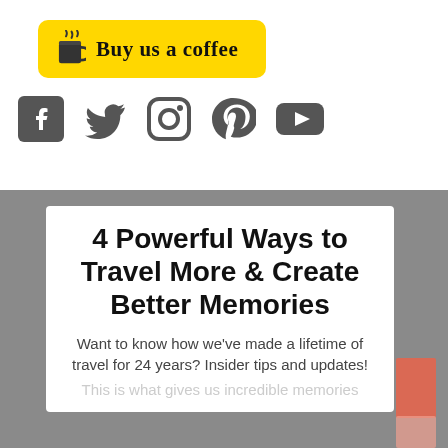[Figure (logo): Buy us a coffee yellow button with cup icon and handwritten text]
[Figure (infographic): Social media icons: Facebook, Twitter, Instagram, Pinterest, YouTube]
4 Powerful Ways to Travel More & Create Better Memories
Want to know how we've made a lifetime of travel for 24 years? Insider tips and updates!
This is what gives us incredible memories